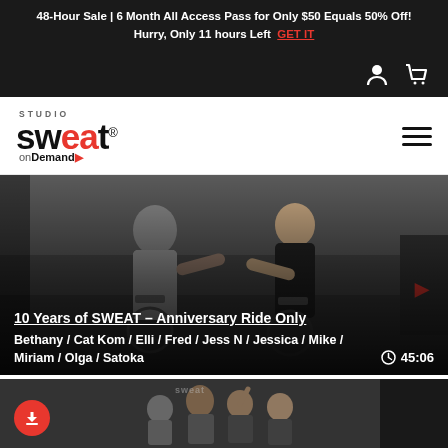48-Hour Sale | 6 Month All Access Pass for Only $50 Equals 50% Off! Hurry, Only 11 hours Left  GET IT
[Figure (screenshot): Navigation bar with user account icon and shopping cart icon on dark background]
[Figure (logo): Studio SWEAT onDemand logo with hamburger menu icon]
[Figure (photo): 10 Years of SWEAT Anniversary Ride Only - gym cycling class photo with instructors fist-bumping]
10 Years of SWEAT – Anniversary Ride Only
Bethany / Cat Kom / Elli / Fred / Jess N / Jessica / Mike / Miriam / Olga / Satoka
45:06
[Figure (photo): Second video thumbnail showing a group of people in a gym with a download button overlay]